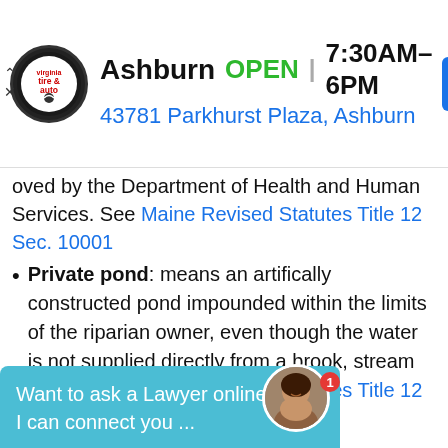[Figure (screenshot): Ad banner for Virginia Tire & Auto, Ashburn location. Shows logo, OPEN status, hours 7:30AM-6PM, address 43781 Parkhurst Plaza Ashburn, and navigation arrow icon.]
oved by the Department of Health and Human Services. See Maine Revised Statutes Title 12 Sec. 10001
Private pond: means an artifically constructed pond impounded within the limits of the riparian owner, even though the water is not supplied directly from a brook, stream or river. See Maine Revised Statutes Title 12 Sec. 10001
Raptor: means a bird of the order Strigiformes and of the families Accipitridae and Falconidae commonly called buteos, accipiters, falcons and owls. See Maine
person who is not a citizen of the United States who has
[Figure (screenshot): Chat widget overlay: 'Want to ask a Lawyer online now? I can connect you ...' with avatar photo of a woman with notification badge showing 1.]